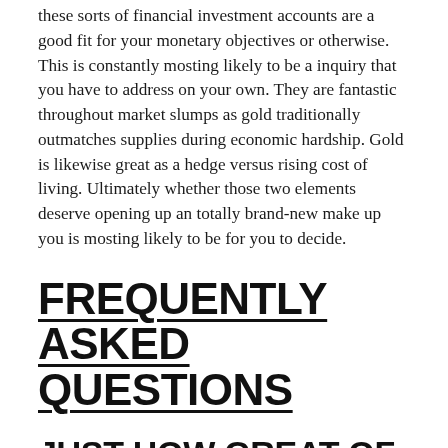these sorts of financial investment accounts are a good fit for your monetary objectives or otherwise. This is constantly mosting likely to be a inquiry that you have to address on your own. They are fantastic throughout market slumps as gold traditionally outmatches supplies during economic hardship. Gold is likewise great as a hedge versus rising cost of living. Ultimately whether those two elements deserve opening up an totally brand-new make up you is mosting likely to be for you to decide.
FREQUENTLY ASKED QUESTIONS
JUST HOW GREAT OF AN INVESTMENT IS A GOLD IRA